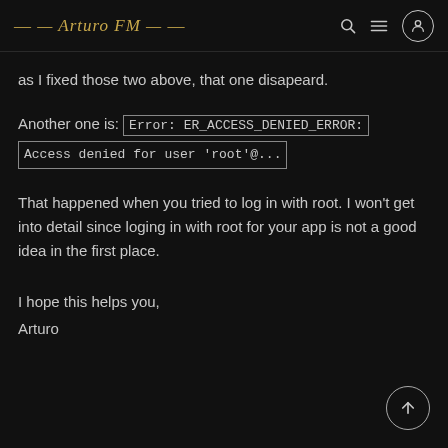— Arturo FM —
as I fixed those two above, that one disapeard.
Another one is: Error: ER_ACCESS_DENIED_ERROR: Access denied for user 'root'@...
That happened when you tried to log in with root. I won't get into detail since loging in with root for your app is not a good idea in the first place.
I hope this helps you,
Arturo